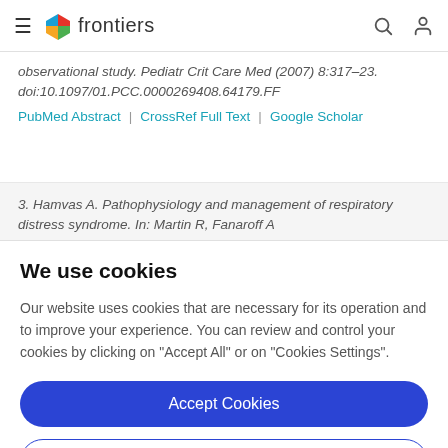frontiers
observational study. Pediatr Crit Care Med (2007) 8:317–23. doi:10.1097/01.PCC.0000269408.64179.FF
PubMed Abstract | CrossRef Full Text | Google Scholar
3. Hamvas A. Pathophysiology and management of respiratory distress syndrome. In: Martin R, Fanaroff A
We use cookies
Our website uses cookies that are necessary for its operation and to improve your experience. You can review and control your cookies by clicking on "Accept All" or on "Cookies Settings".
Accept Cookies
Cookies Settings